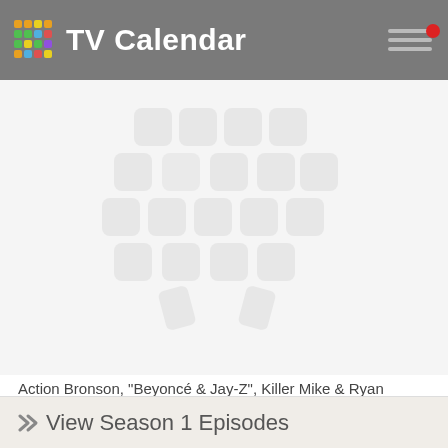TV Calendar
[Figure (illustration): Large watermark/placeholder TV Calendar logo icon — a 4x4 grid of rounded squares forming a TV/calendar shape, shown in light gray on white background]
Action Bronson, "Beyoncé & Jay-Z", Killer Mike & Ryan Kwanten.
194 have watched this episode
[Figure (illustration): Gray eye icon (watched indicator)]
View Season 1 Episodes